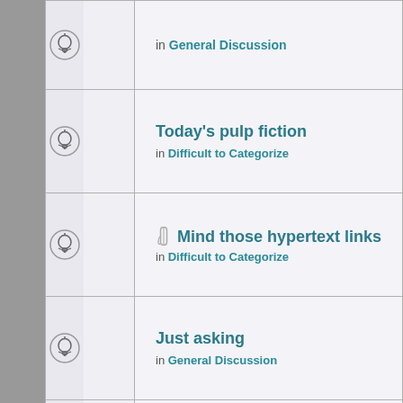| (icon) | (stats) | General Discussion |
| (icon) | (stats) | Today's pulp fiction
in Difficult to Categorize |
| (icon) | (stats) | Mind those hypertext links
in Difficult to Categorize |
| (icon) | (stats) | Just asking
in General Discussion |
| (icon) | (stats) | Today's bowdlerizing
in Difficult to Categorize |
Display posts from previous: All r
Page 1 of 20 [ Search found more than 1000 matches
Board index
Powered by phpB